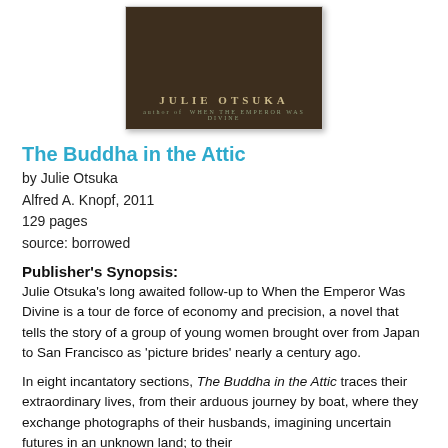[Figure (photo): Book cover of 'The Buddha in the Attic' by Julie Otsuka, dark brown background with author name in gold letters and subtitle 'author of When the Emperor Was Divine']
The Buddha in the Attic
by Julie Otsuka
Alfred A. Knopf, 2011
129 pages
source: borrowed
Publisher's Synopsis:
Julie Otsuka's long awaited follow-up to When the Emperor Was Divine is a tour de force of economy and precision, a novel that tells the story of a group of young women brought over from Japan to San Francisco as 'picture brides' nearly a century ago.
In eight incantatory sections, The Buddha in the Attic traces their extraordinary lives, from their arduous journey by boat, where they exchange photographs of their husbands, imagining uncertain futures in an unknown land; to their